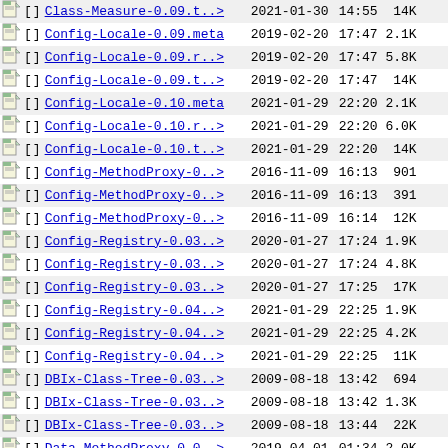| icon | bracket | link | date | time | size | extra |
| --- | --- | --- | --- | --- | --- | --- |
| [img] | [ ] | Class-Measure-0.09.t..> | 2021-01-30 | 14:55 | 14K |  |
| [img] | [ ] | Config-Locale-0.09.meta | 2019-02-20 | 17:47 | 2.1K |  |
| [img] | [ ] | Config-Locale-0.09.r..> | 2019-02-20 | 17:47 | 5.8K |  |
| [img] | [ ] | Config-Locale-0.09.t..> | 2019-02-20 | 17:47 | 14K |  |
| [img] | [ ] | Config-Locale-0.10.meta | 2021-01-29 | 22:20 | 2.1K |  |
| [img] | [ ] | Config-Locale-0.10.r..> | 2021-01-29 | 22:20 | 6.0K |  |
| [img] | [ ] | Config-Locale-0.10.t..> | 2021-01-29 | 22:20 | 14K |  |
| [img] | [ ] | Config-MethodProxy-0..> | 2016-11-09 | 16:13 | 901 |  |
| [img] | [ ] | Config-MethodProxy-0..> | 2016-11-09 | 16:13 | 391 |  |
| [img] | [ ] | Config-MethodProxy-0..> | 2016-11-09 | 16:14 | 12K |  |
| [img] | [ ] | Config-Registry-0.03..> | 2020-01-27 | 17:24 | 1.9K |  |
| [img] | [ ] | Config-Registry-0.03..> | 2020-01-27 | 17:24 | 4.8K |  |
| [img] | [ ] | Config-Registry-0.03..> | 2020-01-27 | 17:25 | 17K |  |
| [img] | [ ] | Config-Registry-0.04..> | 2021-01-29 | 22:25 | 1.9K |  |
| [img] | [ ] | Config-Registry-0.04..> | 2021-01-29 | 22:25 | 4.2K |  |
| [img] | [ ] | Config-Registry-0.04..> | 2021-01-29 | 22:25 | 11K |  |
| [img] | [ ] | DBIx-Class-Tree-0.03..> | 2009-08-18 | 13:42 | 694 |  |
| [img] | [ ] | DBIx-Class-Tree-0.03..> | 2009-08-18 | 13:42 | 1.3K |  |
| [img] | [ ] | DBIx-Class-Tree-0.03..> | 2009-08-18 | 13:44 | 22K |  |
| [img] | [ ] | Data-MethodProxy-0.0..> | 2019-04-01 | 01:34 | 2.0K |  |
| [img] | [ ] | Data-MethodProxy-0.0..> | 2019-04-01 | 01:34 | 3.5K |  |
| [img] | [ ] | Data-MethodProxy-0.0..> | 2019-04-01 | 01:35 | 12K |  |
| [img] | [ ] | Data-MethodProxy-0.0..> | 2021-01-29 | 22:29 | 2.0K |  |
| [img] | [ ] | Data-MethodProxy-0.0..> | 2021-01-29 | 22:29 | 3.5K |  |
| [img] | [ ] | Data-MethodProxy-0.0..> | 2021-01-29 | 22:29 | 12K |  |
| [img] | [ ] | Data-Serializer-JSON..> | 2019-02-18 | 01:23 | 1.9K |  |
| [img] | [ ] | Data-Serializer-JSON..> | 2019-02-18 | 01:23 | 1.5K |  |
| [img] | [ ] | Data-Serializer-JSON..> | 2019-02-18 | 01:24 | 9.0K |  |